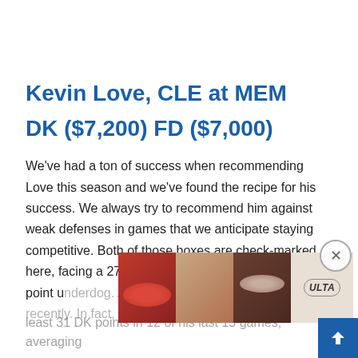Kevin Love, CLE at MEM
DK ($7,200) FD ($7,000)
We've had a ton of success when recommending Love this season and we've found the recipe for his success. We always try to recommend him against weak defenses in games that we anticipate staying competitive. Both of those boxes are check-marked here, facing a 27th-ranked Grizzlies defense as a 6.5-point u[nderdog. And with that said, for Love, h]e's been really good recently. In fact, Love ha[s hit at] least 31 DK points in 12 of his last 15 games, averaging...
[Figure (other): ULTA beauty advertisement banner with cosmetic imagery (lips, makeup brush, eyes) and SHOP NOW call to action]